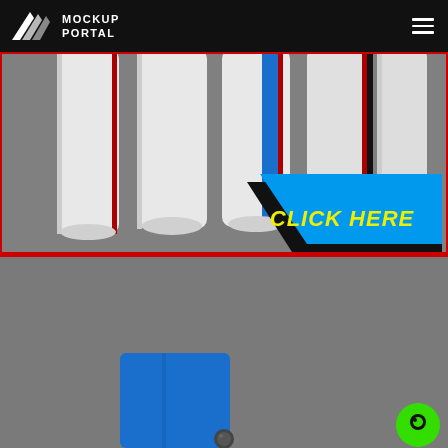[Figure (logo): Mockup Portal logo with arrow/wing icon and text 'MOCKUP PORTAL' in white on black nav bar, with hamburger menu icon on right]
[Figure (photo): Top product banner showing multiple white baseball/athletic pants with colored stripes (red, blue, red-white) on gray background, with a blue diagonal 'CLICK HERE' button in yellow italic bold text overlaid in bottom right area]
[Figure (photo): Bottom product panel on gray background showing partial view of blue athletic shorts/apparel at bottom left and a green chat bubble icon at bottom right]